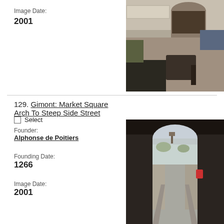Image Date:
2001
[Figure (photo): Street scene with arch and outdoor furniture in foreground, stone building with arched gateway in background]
129. Gimont: Market Square Arch To Steep Side Street
Select
Founder:
Alphonse de Poitiers
Founding Date:
1266
Image Date:
2001
[Figure (photo): View through a large stone arch looking down a steep narrow street with buildings on either side and hills visible in background]